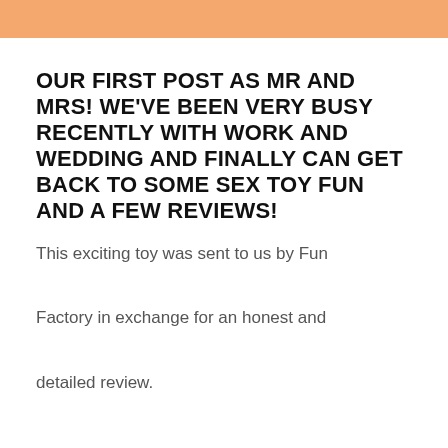OUR FIRST POST AS MR AND MRS! WE'VE BEEN VERY BUSY RECENTLY WITH WORK AND WEDDING AND FINALLY CAN GET BACK TO SOME SEX TOY FUN AND A FEW REVIEWS!
This exciting toy was sent to us by Fun Factory in exchange for an honest and detailed review.

'Quality, functionality, combined with fun and sensuality' Fun Factory was started in 1996 by university graduates based in Germany